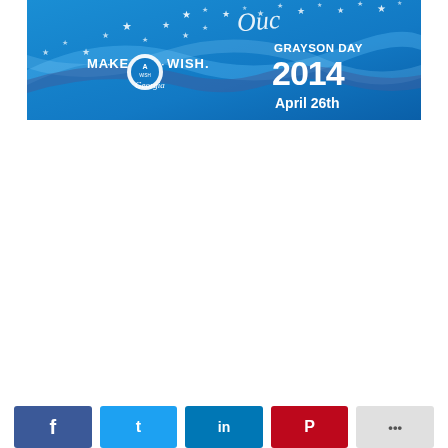[Figure (illustration): Make-A-Wish Georgia banner for Grayson Day 2014, April 26th. Blue background with stars and wave design, Make-A-Wish logo on the left, event details on the right.]
Facebook share | Twitter share | LinkedIn share | Pinterest share | More